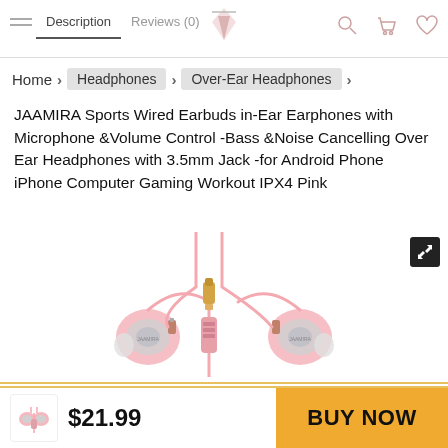Description | Reviews (0)
Home > Headphones > Over-Ear Headphones >
JAAMIRA Sports Wired Earbuds in-Ear Earphones with Microphone &Volume Control -Bass &Noise Cancelling Over Ear Headphones with 3.5mm Jack -for Android Phone iPhone Computer Gaming Workout IPX4 Pink
[Figure (photo): Pink JAAMIRA in-ear earphones with ear hooks, gold 3.5mm jack plug, and inline microphone/volume control, shown against white background]
$21.99
BUY NOW